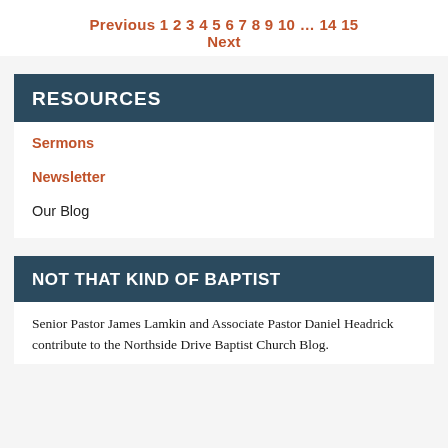Previous 1 2 3 4 5 6 7 8 9 10 … 14 15 Next
RESOURCES
Sermons
Newsletter
Our Blog
NOT THAT KIND OF BAPTIST
Senior Pastor James Lamkin and Associate Pastor Daniel Headrick contribute to the Northside Drive Baptist Church Blog.